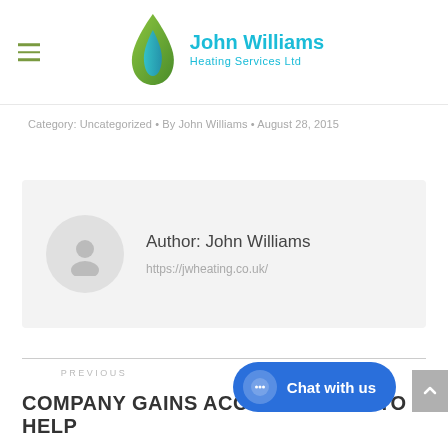[Figure (logo): John Williams Heating Services Ltd logo with a green and blue flame/droplet icon and cyan company name text]
Category: Uncategorized • By John Williams • August 28, 2015
[Figure (infographic): Author card with avatar placeholder icon showing Author: John Williams and https://jwheating.co.uk/]
PREVIOUS
COMPANY GAINS ACCREDITATION TO HELP
[Figure (other): Blue rounded Chat with us button with speech bubble icon]